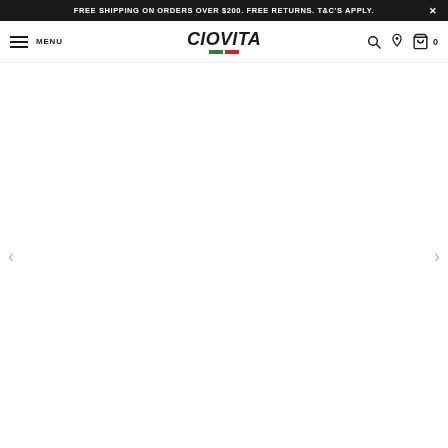FREE SHIPPING ON ORDERS OVER $200. FREE RETURNS. T&C'S APPLY. ✕
[Figure (screenshot): Ciovita website navigation bar with hamburger menu icon and MENU text on left, Ciovita logo in center with Italian flag colors underneath, search icon, location pin icon, and shopping bag icon with 0 count on right]
[Figure (other): Main content area of website — large blank white carousel/hero image area with left and right navigation arrows visible on sides]